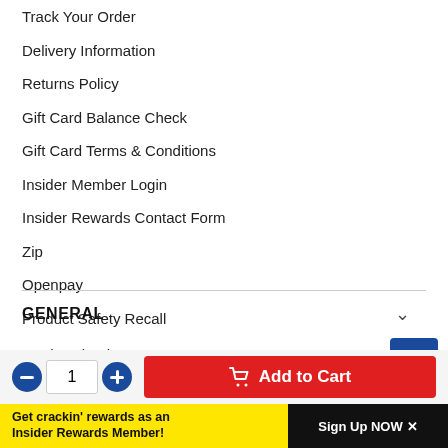Track Your Order
Delivery Information
Returns Policy
Gift Card Balance Check
Gift Card Terms & Conditions
Insider Member Login
Insider Rewards Contact Form
Zip
Openpay
Product Safety Recall
GENERAL
Total Tools Blog
Low Price Guarantee
Get crackin' rewards as an Insider Rewards Member!
Sign Up NOW ×